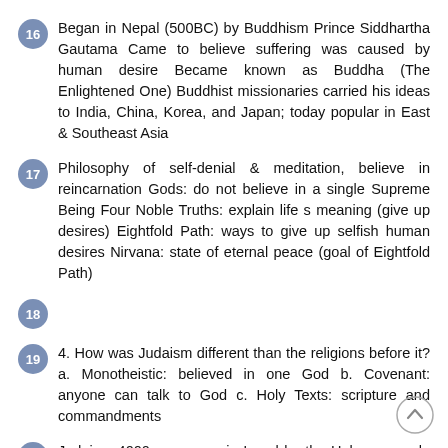16 Began in Nepal (500BC) by Buddhism Prince Siddhartha Gautama Came to believe suffering was caused by human desire Became known as Buddha (The Enlightened One) Buddhist missionaries carried his ideas to India, China, Korea, and Japan; today popular in East & Southeast Asia
17 Philosophy of self-denial & meditation, believe in reincarnation Gods: do not believe in a single Supreme Being Four Noble Truths: explain life s meaning (give up desires) Eightfold Path: ways to give up selfish human desires Nirvana: state of eternal peace (goal of Eightfold Path)
18
19 4. How was Judaism different than the religions before it? a. Monotheistic: believed in one God b. Covenant: anyone can talk to God c. Holy Texts: scripture and commandments
20 Judaism 4000 years ago in Israel by the Hebrew people Torah (first 5 books); holy book of the Jews Today;